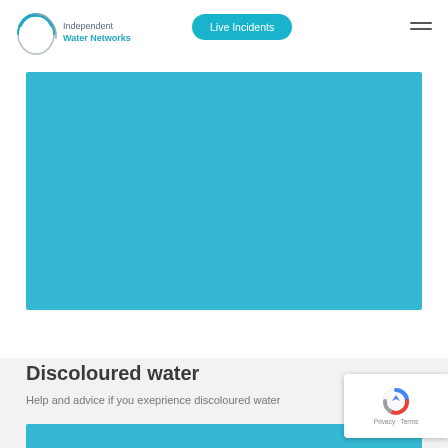[Figure (logo): Independent Water Networks logo with circular arc graphic and text]
Live Incidents
[Figure (photo): Large teal/blue rectangular image placeholder]
Discoloured water
Help and advice if you exeprience discoloured water
[Figure (photo): Partial teal/blue card at bottom of page]
[Figure (other): reCAPTCHA badge with Privacy and Terms links]